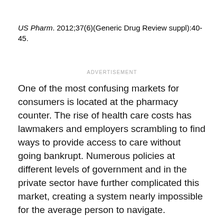US Pharm. 2012;37(6)(Generic Drug Review suppl):40-45.
ADVERTISEMENT
One of the most confusing markets for consumers is located at the pharmacy counter. The rise of health care costs has lawmakers and employers scrambling to find ways to provide access to care without going bankrupt. Numerous policies at different levels of government and in the private sector have further complicated this market, creating a system nearly impossible for the average person to navigate.